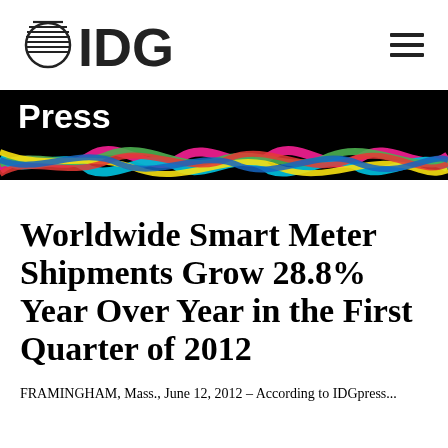IDG Press
[Figure (logo): IDG logo with globe icon and the text IDG, plus hamburger menu icon on the right]
Press
[Figure (illustration): Colorful twisted ribbon/wave graphic with pink, cyan, green, yellow, red, blue colors on black background]
Worldwide Smart Meter Shipments Grow 28.8% Year Over Year in the First Quarter of 2012
FRAMINGHAM, Mass., June 12, 2012 – According to IDGpress...